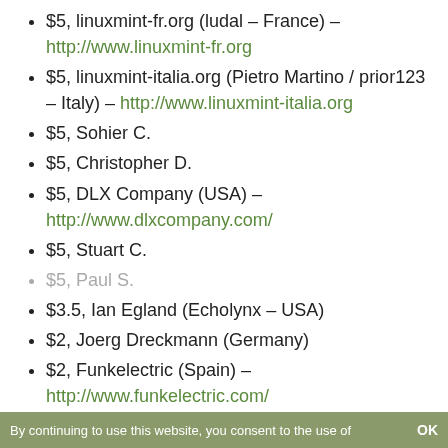$5, linuxmint-fr.org (ludal – France) – http://www.linuxmint-fr.org
$5, linuxmint-italia.org (Pietro Martino / prior123 – Italy) – http://www.linuxmint-italia.org
$5, Sohier C.
$5, Christopher D.
$5, DLX Company (USA) – http://www.dlxcompany.com/
$5, Stuart C.
$5, Paul S.
$3.5, Ian Egland (Echolynx – USA)
$2, Joerg Dreckmann (Germany)
$2, Funkelectric (Spain) – http://www.funkelectric.com/
$2, NVISN TECHNOLOGY SOLUTIONS AND CONSULTING (USA) – http://www.nvisn.com/
By continuing to use this website, you consent to the use of    OK